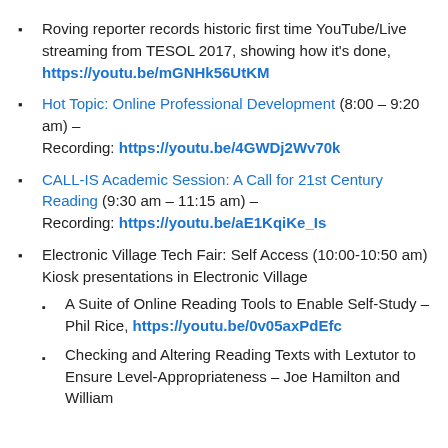Roving reporter records historic first time YouTube/Live streaming from TESOL 2017, showing how it's done, https://youtu.be/mGNHk56UtKM
Hot Topic: Online Professional Development (8:00 – 9:20 am) – Recording: https://youtu.be/4GWDj2Wv70k
CALL-IS Academic Session: A Call for 21st Century Reading (9:30 am – 11:15 am) – Recording: https://youtu.be/aE1KqiKe_Is
Electronic Village Tech Fair: Self Access (10:00-10:50 am) Kiosk presentations in Electronic Village
A Suite of Online Reading Tools to Enable Self-Study – Phil Rice, https://youtu.be/0v05axPdEfc
Checking and Altering Reading Texts with Lextutor to Ensure Level-Appropriateness – Joe Hamilton and William